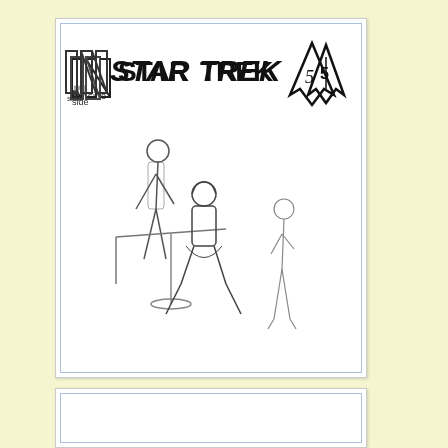[Figure (illustration): Cover page of 'Inside Star Trek' issue 5 fanzine. Top section shows the title logo: 'INside' in outlined block letters, 'Star Trek' in stylized bold font, and the Star Trek delta/arrowhead symbol with the number 5. Below is a pencil sketch illustration of three figures: one standing figure leaning over, one seated figure, and one figure standing to the right.]
[Figure (other): Partial view of a second document page at the bottom of the scan, mostly cut off.]